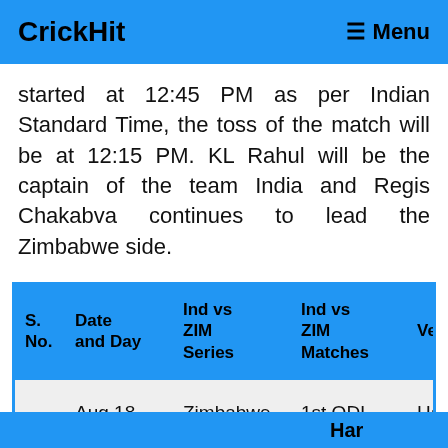CrickHit   ≡ Menu
started at 12:45 PM as per Indian Standard Time, the toss of the match will be at 12:15 PM. KL Rahul will be the captain of the team India and Regis Chakabva continues to lead the Zimbabwe side.
| S. No. | Date and Day | Ind vs ZIM Series | Ind vs ZIM Matches | Ven... |
| --- | --- | --- | --- | --- |
| 1. | Aug 18, Thursday | Zimbabwe vs India | 1st ODI | Har... Spo... Clu... |